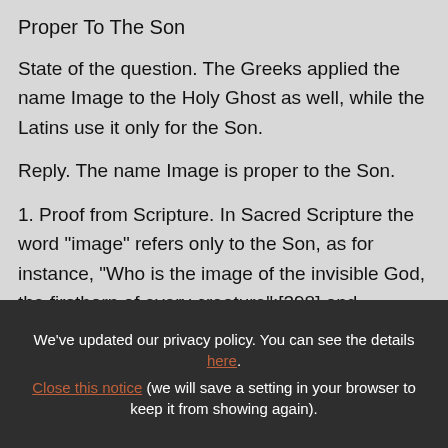Proper To The Son
State of the question. The Greeks applied the name Image to the Holy Ghost as well, while the Latins use it only for the Son.
Reply. The name Image is proper to the Son.
1. Proof from Scripture. In Sacred Scripture the word "image" refers only to the Son, as for instance, "Who is the image of the invisible God, the firstborn of every creature";[398] and
We've updated our privacy policy. You can see the details here. Close this notice (we will save a setting in your browser to keep it from showing again).